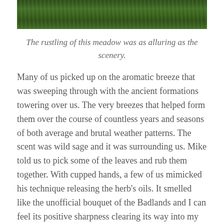[Figure (photo): Close-up photo of green grass or meadow vegetation, cropped as a horizontal strip at the top of the page.]
The rustling of this meadow was as alluring as the scenery.
Many of us picked up on the aromatic breeze that was sweeping through with the ancient formations towering over us. The very breezes that helped form them over the course of countless years and seasons of both average and brutal weather patterns. The scent was wild sage and it was surrounding us. Mike told us to pick some of the leaves and rub them together. With cupped hands, a few of us mimicked his technique releasing the herb's oils. It smelled like the unofficial bouquet of the Badlands and I can feel its positive sharpness clearing its way into my sinuses when I think about it to this day.